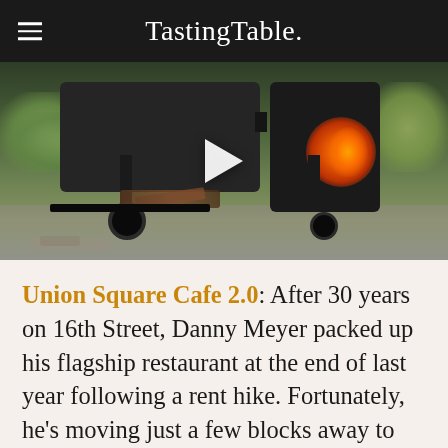Tasting Table.
[Figure (photo): Video thumbnail showing a large black BBQ smoker/grill outdoors in a garden setting with fire visible in the chamber on the right side. A white play button triangle is overlaid in the center.]
Union Square Cafe 2.0: After 30 years on 16th Street, Danny Meyer packed up his flagship restaurant at the end of last year following a rent hike. Fortunately, he's moving just a few blocks away to the former City Crab space, which is three times as large as the original and still walking distance from the farmers'